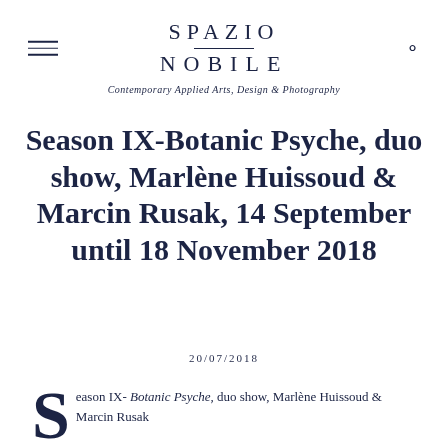SPAZIO NOBILE — Contemporary Applied Arts, Design & Photography
Season IX-Botanic Psyche, duo show, Marlène Huissoud & Marcin Rusak, 14 September until 18 November 2018
20/07/2018
Season IX- Botanic Psyche, duo show, Marlène Huissoud & Marcin Rusak